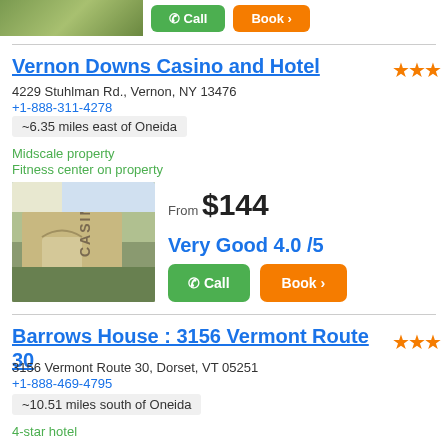[Figure (photo): Partial view of a green landscape with Call and Book buttons at the top]
Vernon Downs Casino and Hotel
4229 Stuhlman Rd., Vernon, NY 13476
+1-888-311-4278
~6.35 miles east of Oneida
Midscale property
Fitness center on property
[Figure (photo): Photo of Vernon Downs Casino and Hotel exterior building]
From $144
Very Good 4.0 /5
Barrows House : 3156 Vermont Route 30
3156 Vermont Route 30, Dorset, VT 05251
+1-888-469-4795
~10.51 miles south of Oneida
4-star hotel